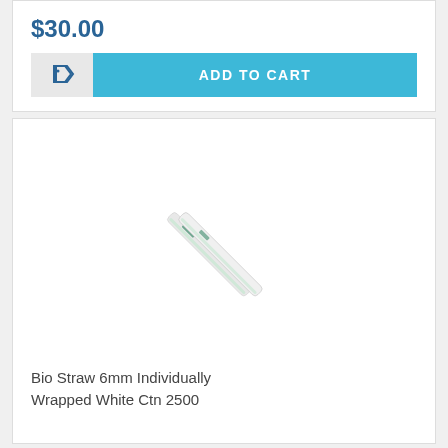$30.00
[Figure (screenshot): Add to Cart button with wishlist icon]
[Figure (photo): Bio straw 6mm individually wrapped white, diagonal product photo]
Bio Straw 6mm Individually Wrapped White Ctn 2500